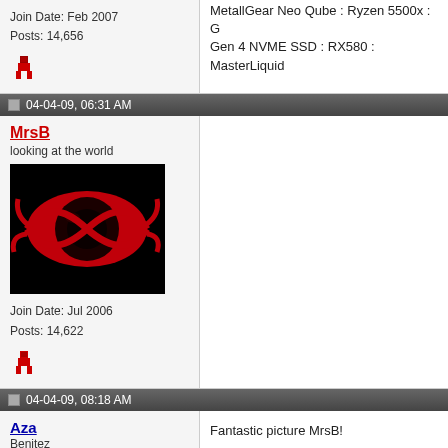MetallGear Neo Qube : Ryzen 5500x : Gen 4 NVME SSD : RX580 : MasterLiquid
Join Date: Feb 2007
Posts: 14,656
04-04-09, 06:31 AM
MrsB
looking at the world
[Figure (illustration): Red eye logo on black background — stylized red eye with curved lashes]
Join Date: Jul 2006
Posts: 14,622
04-04-09, 08:18 AM
Aza
Benitez
Join Date: Jul 2008
Posts: 820
Fantastic picture MrsB!